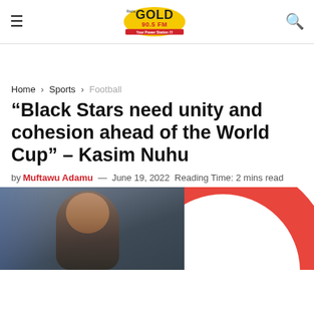Radio Gold 90.5 FM — Your Power Station!!!
Home > Sports > Football
“Black Stars need unity and cohesion ahead of the World Cup” – Kasim Nuhu
by Muftawu Adamu — June 19, 2022  Reading Time: 2 mins read
[Figure (photo): Photo of a man smiling, with a red circular graphic element on the right side of the image]